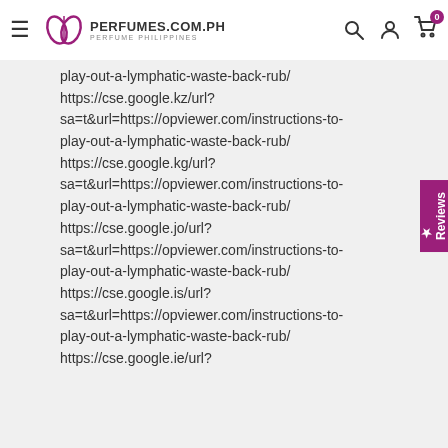PERFUMES.COM.PH
play-out-a-lymphatic-waste-back-rub/
https://cse.google.kz/url?
sa=t&url=https://opviewer.com/instructions-to-play-out-a-lymphatic-waste-back-rub/
https://cse.google.kg/url?
sa=t&url=https://opviewer.com/instructions-to-play-out-a-lymphatic-waste-back-rub/
https://cse.google.jo/url?
sa=t&url=https://opviewer.com/instructions-to-play-out-a-lymphatic-waste-back-rub/
https://cse.google.is/url?
sa=t&url=https://opviewer.com/instructions-to-play-out-a-lymphatic-waste-back-rub/
https://cse.google.ie/url?